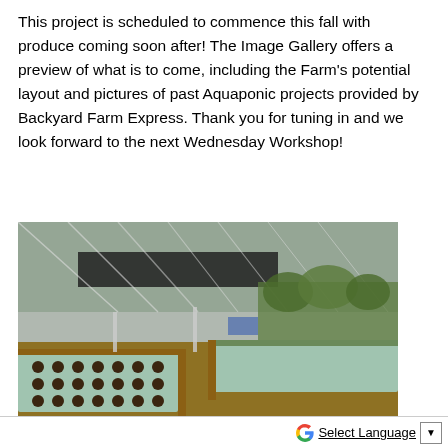This project is scheduled to commence this fall with produce coming soon after! The Image Gallery offers a preview of what is to come, including the Farm's potential layout and pictures of past Aquaponic projects provided by Backyard Farm Express. Thank you for tuning in and we look forward to the next Wednesday Workshop!
[Figure (photo): Interior of a greenhouse/polytunnel showing aquaponic growing beds with plants and dark growing medium arranged in long rows under a plastic sheeting roof structure.]
Select Language ▼